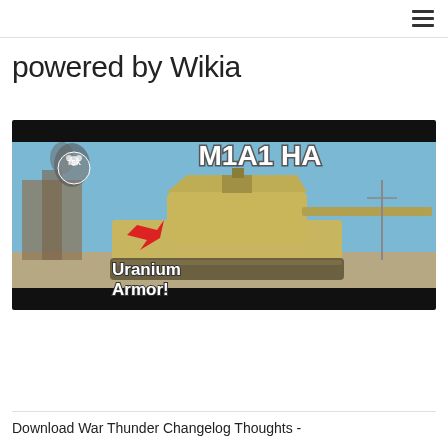powered by Wikia
powered by Wikia
[Figure (screenshot): Video thumbnail showing an M1A1 HA tank with text 'M1A1 HA' in large letters, 'Uranium Armor!' with a red arrow pointing at the tank, and a TSK logo in the upper left corner. The tank is a military desert-tan colored tank against a blue sky background.]
Download War Thunder Changelog Thoughts -